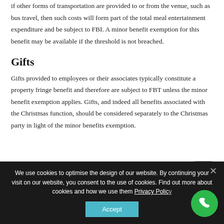if other forms of transportation are provided to or from the venue, such as bus travel, then such costs will form part of the total meal entertainment expenditure and be subject to FBI. A minor benefit exemption for this benefit may be available if the threshold is not breached.
Gifts
Gifts provided to employees or their associates typically constitute a property fringe benefit and therefore are subject to FBT unless the minor benefit exemption applies. Gifts, and indeed all benefits associated with the Christmas function, should be considered separately to the Christmas party in light of the minor benefits exemption.
We use cookies to optimise the design of our website. By continuing your visit on our website, you consent to the use of cookies. Find out more about cookies and how we use them Privacy Policy